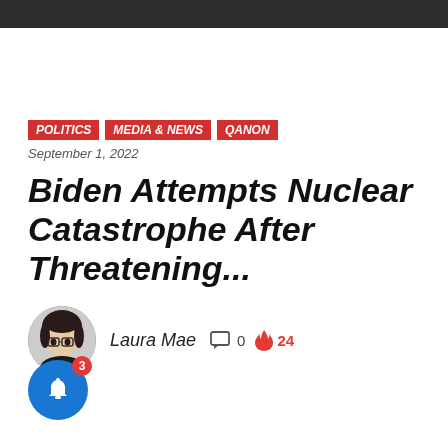POLITICS | MEDIA & NEWS | QANON
September 1, 2022
Biden Attempts Nuclear Catastrophe After Threatening...
Laura Mae   0   24